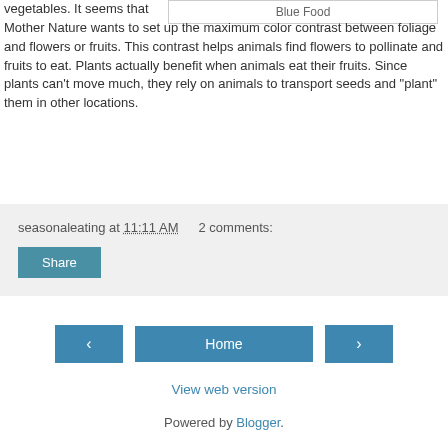vegetables. It seems that Mother Nature wants to set up the maximum color contrast between foliage and flowers or fruits. This contrast helps animals find flowers to pollinate and fruits to eat. Plants actually benefit when animals eat their fruits. Since plants can't move much, they rely on animals to transport seeds and "plant" them in other locations.
Blue Food
seasonaleating at 11:11 AM   2 comments:
Share
Home
View web version
Powered by Blogger.